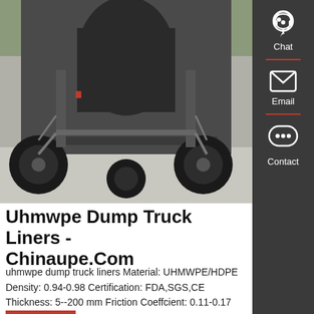[Figure (photo): Underside view of a dump truck showing chassis, axles, tires, suspension components, and fuel/air tank, photographed from below on a paved surface.]
Uhmwpe Dump Truck Liners - Chinaupe.Com
uhmwpe dump truck liners Material: UHMWPE/HDPE Density: 0.94-0.98 Certification: FDA,SGS,CE Thickness: 5--200 mm Friction Coeffcient: 0.11-0.17